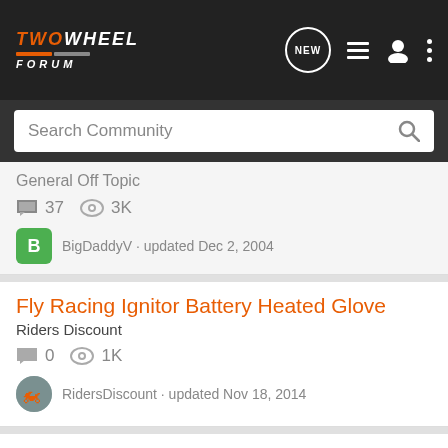TWOWHEEL FORUM
Search Community
General Off Topic
37 comments, 3K views — BigDaddyV · updated Dec 2, 2004
Fly Racing Ignitor Battery Heated Glove
Riders Discount
0 comments, 1K views — RidersDiscount · updated Nov 18, 2014
emergency kits
General Off Topic
31 comments, 3K views